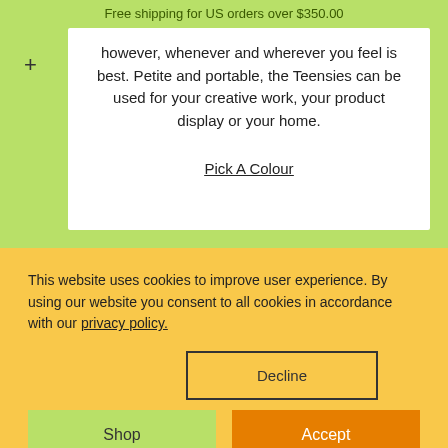Free shipping for US orders over $350.00
however, whenever and wherever you feel is best. Petite and portable, the Teensies can be used for your creative work, your product display or your home.
Pick A Colour
This website uses cookies to improve user experience. By using our website you consent to all cookies in accordance with our privacy policy.
Decline
Shop
Accept